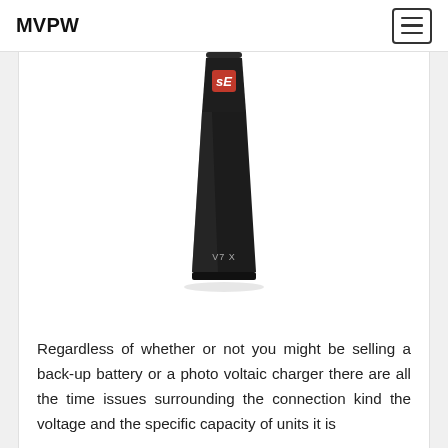MVPW
[Figure (photo): sE Electronics V7 X dynamic microphone standing upright, black cylindrical body with red sE logo badge near top, label 'V7 X' near bottom, on white background]
Regardless of whether or not you might be selling a back-up battery or a photo voltaic charger there are all the time issues surrounding the connection kind the voltage and the specific capacity of units it is